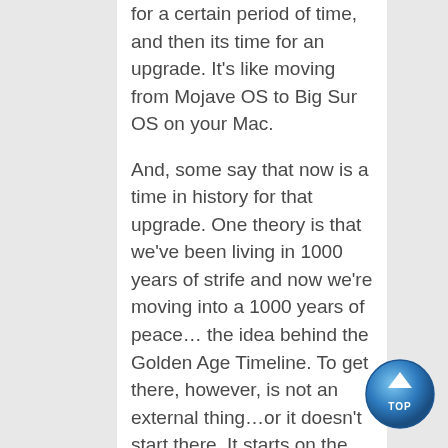for a certain period of time, and then its time for an upgrade. It's like moving from Mojave OS to Big Sur OS on your Mac.
And, some say that now is a time in history for that upgrade. One theory is that we've been living in 1000 years of strife and now we're moving into a 1000 years of peace... the idea behind the Golden Age Timeline. To get there, however, is not an external thing...or it doesn't start there. It starts on the inside by upgrading your personal MindStory, which then helps upgrade the collective MindStory... and THEN the collective changes from the inside...